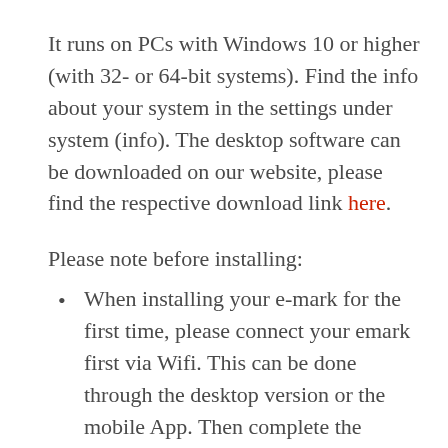It runs on PCs with Windows 10 or higher (with 32- or 64-bit systems). Find the info about your system in the settings under system (info). The desktop software can be downloaded on our website, please find the respective download link here.
Please note before installing:
When installing your e-mark for the first time, please connect your emark first via Wifi. This can be done through the desktop version or the mobile App. Then complete the firmware update on the e-mark